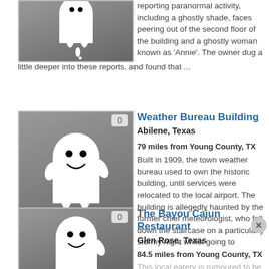reporting paranormal activity, including a ghostly shade, faces peering out of the second floor of the building and a ghostly woman known as 'Annie'. The owner dug a little deeper into these reports, and found that ...
[Figure (illustration): Ghost cartoon illustration on grey background (partial, top of page)]
[Figure (illustration): Ghost cartoon illustration on grey background with badge showing 0]
Weather Bureau Building
Abilene, Texas
79 miles from Young County, TX
Built in 1909, the town weather bureau used to own the historic building, until services were relocated to the local airport. The building is allegedly haunted by the former chief meteorologist, who fell down the staircase on a particularly stormy night whilst going to retrieve a chart from the ...
[Figure (illustration): Ghost cartoon illustration on grey background with badge showing 0 (partial bottom)]
The Bayou Cajun Restaurant
Glen Rose, Texas
84.5 miles from Young County, TX
This local eatery is rumoured to be haunted by a man associated with the building's past.